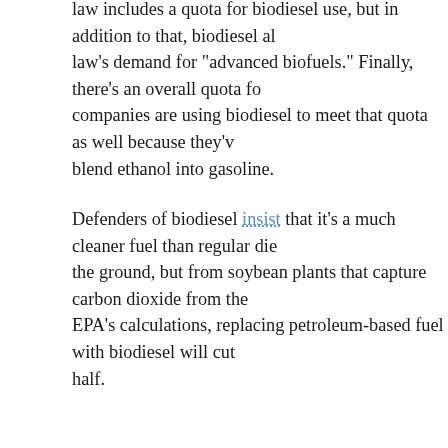law includes a quota for biodiesel use, but in addition to that, biodiesel also counts toward the law's demand for "advanced biofuels." Finally, there's an overall quota for renewable fuels, and companies are using biodiesel to meet that quota as well because they've found it difficult to blend ethanol into gasoline.
Defenders of biodiesel insist that it's a much cleaner fuel than regular diesel, because it comes not from the ground, but from soybean plants that capture carbon dioxide from the atmosphere. By the EPA's calculations, replacing petroleum-based fuel with biodiesel will cut greenhouse gas emissions in half.
A growing number of environmentalists, however, say that this calculation is flawed. When more soybeans are needed to make fuel in addition to food, it inevitably means that somewhere on Earth will have to plow up grasslands or cut down forests in order to grow those soybeans. And clearing such land releases huge amounts of carbon dioxide into the atmosphere.
Two environmental groups — ActionAid USA and Mighty Earth — just released a report linking America's biodiesel demands directly to deforestation in Argentina.
Investigators from the two groups documented widespread clearing of Argentina forests for cultivation of soybeans. Simultaneously, Argentina expanded its exports of soybean biodiesel to the United States. In 2016, in fact, Argentina shipped more than 400 million gallons of biodiesel, equivalent to almost 15 percent of all the biodiesel that Americans consumed.